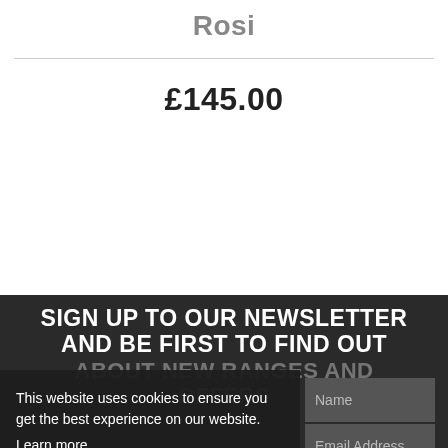Rosi
£145.00
SIGN UP TO OUR NEWSLETTER AND BE FIRST TO FIND OUT ABOUT NEW RANGES AND OFFERS
This website uses cookies to ensure you get the best experience on our website.
Learn more
Got it!
Name
Email Address
Sign up to our newsletter